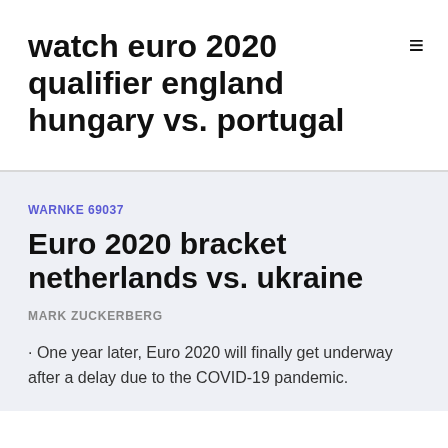watch euro 2020 qualifier england hungary vs. portugal
WARNKE 69037
Euro 2020 bracket netherlands vs. ukraine
MARK ZUCKERBERG
· One year later, Euro 2020 will finally get underway after a delay due to the COVID-19 pandemic.